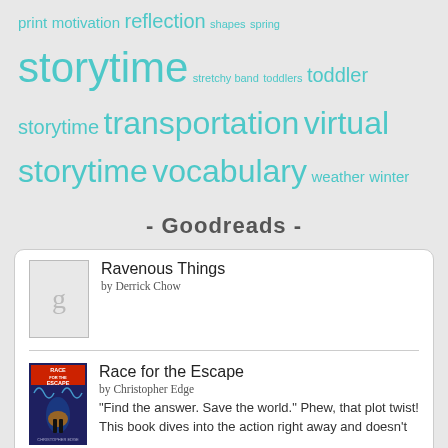print motivation reflection shapes spring storytime stretchy band toddlers toddler storytime transportation virtual storytime vocabulary weather winter
- Goodreads -
Ravenous Things by Derrick Chow
Race for the Escape by Christopher Edge "Find the answer. Save the world." Phew, that plot twist! This book dives into the action right away and doesn't let up. I wasn't a huge fan of the ending... like kids don't have enough eco-anxiety these days without being told they are...